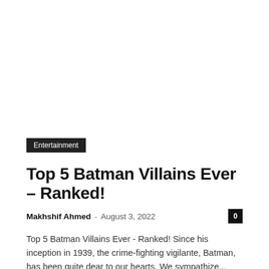Entertainment
Top 5 Batman Villains Ever – Ranked!
Makhshif Ahmed – August 3, 2022
Top 5 Batman Villains Ever - Ranked! Since his inception in 1939, the crime-fighting vigilante, Batman, has been quite dear to our hearts. We sympathize...
Comedy in Scandinavia
July 27, 2022